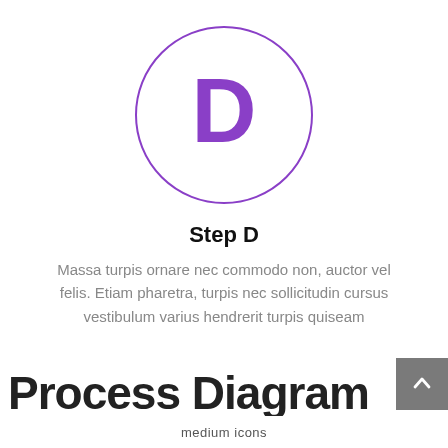[Figure (illustration): A circle with a purple letter D inside, representing Step D in a process diagram]
Step D
Massa turpis ornare nec commodo non, auctor vel felis. Etiam pharetra, turpis nec sollicitudin cursus vestibulum varius hendrerit turpis quiseam
Process Diagram
medium icons